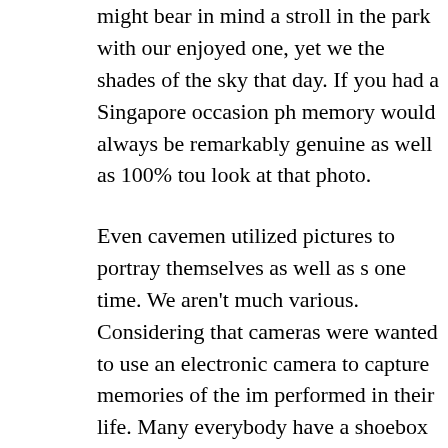might bear in mind a stroll in the park with our enjoyed one, yet we the shades of the sky that day. If you had a Singapore occasion ph memory would always be remarkably genuine as well as 100% tou look at that photo.
Even cavemen utilized pictures to portray themselves as well as s one time. We aren't much various. Considering that cameras were wanted to use an electronic camera to capture memories of the im performed in their life. Many everybody have a shoebox somewhe pictures of our life. Currently, we have also simpler access to an e phones, which are constantly with us. Nevertheless, a lot of our m cam that can not stay on top of the experiences we are having. A e Singapore can alter that, and help you maintain the attractive mem
An event digital photographer's job is to assist individuals take ima memory has vanished. As a result, their job is to be there for you o tiny the event may be. If you desire a memento that will certainly b offer it for you. They take pictures for maternity announcements, w anniversary celebrations, therefore a lot more. All you need to do i everything you need for that minute to be caught in lovely color wh life in front of the electronic camera.